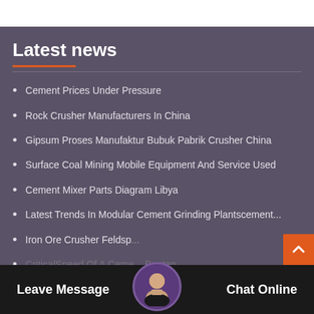Latest news
Cement Prices Under Pressure
Rock Crusher Manufacturers In China
Gipsum Proses Manufaktur Bubuk Pabrik Crusher China
Surface Coal Mining Mobile Equipment And Service Used
Cement Mixer Parts Diagram Libya
Latest Trends In Modular Cement Grinding Plantscement...
Iron Ore Crusher Feldsp...
CriticalSpeed Of A Ceme... Banten
Leave Message  Chat Online